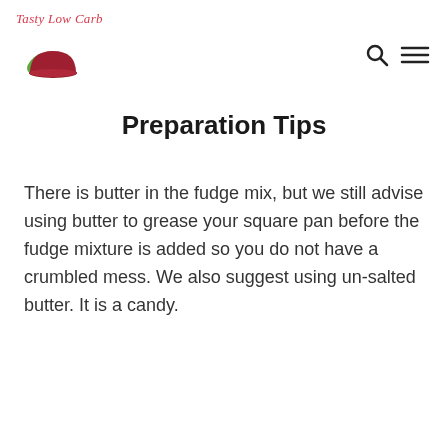Tasty Low Carb
Preparation Tips
There is butter in the fudge mix, but we still advise using butter to grease your square pan before the fudge mixture is added so you do not have a crumbled mess. We also suggest using un-salted butter. It is a candy.